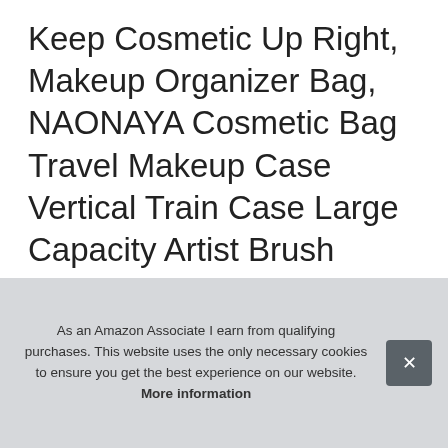Keep Cosmetic Up Right, Makeup Organizer Bag, NAONAYA Cosmetic Bag Travel Makeup Case Vertical Train Case Large Capacity Artist Brush Storage Holder Box, Leather Waterproof, Perfect for Taller Liquids
#ad
[Figure (screenshot): A horizontal strip of product thumbnails from an e-commerce site]
As an Amazon Associate I earn from qualifying purchases. This website uses the only necessary cookies to ensure you get the best experience on our website. More information